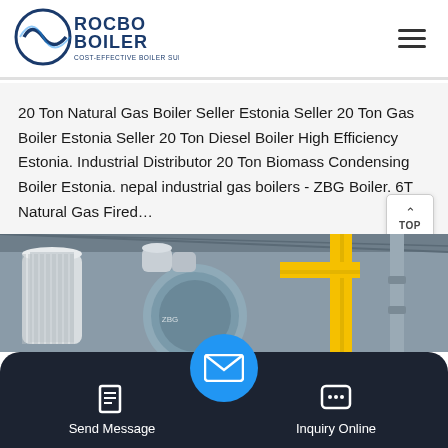[Figure (logo): Rocbo Boiler logo with circular wave icon and text 'ROCBO BOILER - COST-EFFECTIVE BOILER SUPPLIER']
20 Ton Natural Gas Boiler Seller Estonia Seller 20 Ton Gas Boiler Estonia Seller 20 Ton Diesel Boiler High Efficiency Estonia. Industrial Distributor 20 Ton Biomass Condensing Boiler Estonia. nepal industrial gas boilers - ZBG Boiler. 6T Natural Gas Fired…
[Figure (photo): Industrial boiler equipment in a factory setting with yellow pipes and cylindrical tanks]
Send Message
Inquiry Online